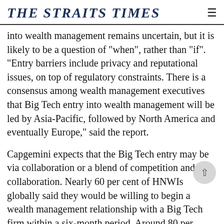THE STRAITS TIMES
into wealth management remains uncertain, but it is likely to be a question of "when", rather than "if". "Entry barriers include privacy and reputational issues, on top of regulatory constraints. There is a consensus among wealth management executives that Big Tech entry into wealth management will be led by Asia-Pacific, followed by North America and eventually Europe," said the report.
Capgemini expects that the Big Tech entry may be via collaboration or a blend of competition and collaboration. Nearly 60 per cent of HNWIs globally said they would be willing to begin a wealth management relationship with a Big Tech firm within a six-month period. Around 80 per cent with knowledge with end...